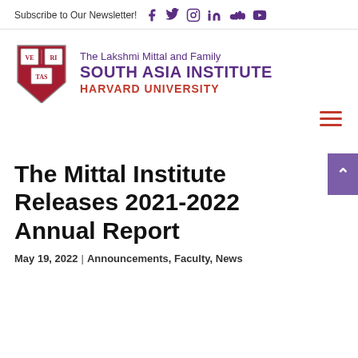Subscribe to Our Newsletter!
[Figure (logo): The Lakshmi Mittal and Family South Asia Institute Harvard University logo with Harvard shield]
The Mittal Institute Releases 2021-2022 Annual Report
May 19, 2022 | Announcements, Faculty, News